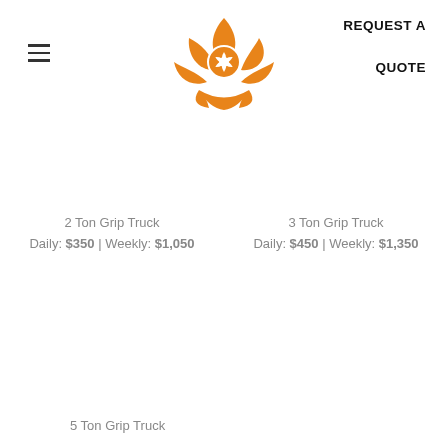[Figure (logo): Orange lotus flower with camera aperture eye logo]
REQUEST A QUOTE
2 Ton Grip Truck
Daily: $350 | Weekly: $1,050
3 Ton Grip Truck
Daily: $450 | Weekly: $1,350
5 Ton Grip Truck